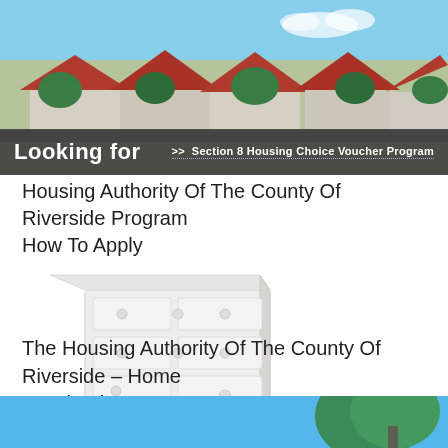[Figure (photo): Banner image of suburban housing with red tile roofs and trees, with a dark overlay bar at the bottom showing 'Looking for' text and a breadcrumb link to 'Section 8 Housing Choice Voucher Program']
Housing Authority Of The County Of Riverside Program How To Apply
[Figure (illustration): Illustration of a white dresser with multiple drawers and round knobs/handles, shown in a light isometric perspective]
The Housing Authority Of The County Of Riverside – Home Facebook
[Figure (photo): Partial view of a blue-sky outdoor scene with trees, cropped at the bottom of the page]